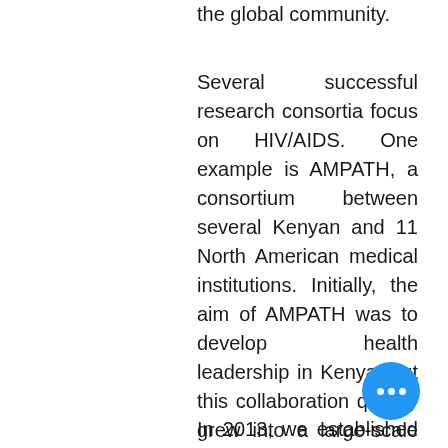the global community.
Several successful research consortia focus on HIV/AIDS. One example is AMPATH, a consortium between several Kenyan and 11 North American medical institutions. Initially, the aim of AMPATH was to develop health leadership in Kenya, but this collaboration quickly grew into a large-scale model for HIV/AIDS prevention and treatment.9 They have now expanded to cancer research and training, including a formal gynecologic oncology fellowship program. Other research consortia have also been initiated on varying public health topics.10–15
In 2013, we established the African